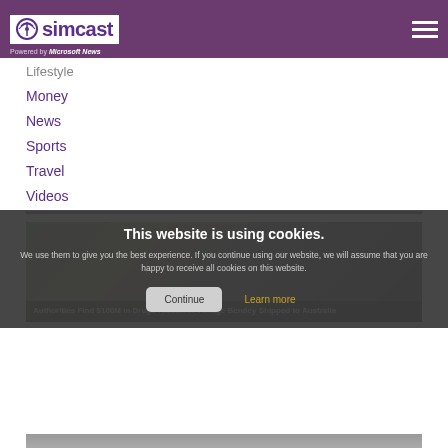simcast — Powered by Microsoft News
Lifestyle
Money
News
Sports
Travel
Videos
[Figure (photo): News article image showing police officers outside a brick building, with headline: Authorities Find $100M in Drugs Hidden in Vintage Bentley Shipped to Australia]
This website is using cookies. We use them to give you the best experience. If you continue using our website, we will assume that you are happy to receive all cookies on this website.
Continue | Learn more
[Figure (photo): Partial bottom image, partially visible]